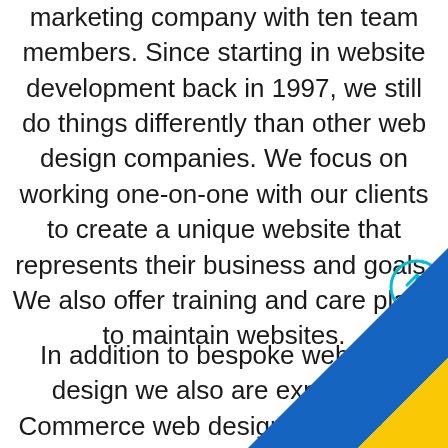marketing company with ten team members. Since starting in website development back in 1997, we still do things differently than other web design companies. We focus on working one-on-one with our clients to create a unique website that represents their business and goals. We also offer training and care plans to maintain websites.
[Figure (illustration): Cyan circle with an upward arrow icon (scroll-to-top button)]
In addition to bespoke website design we also are expert e-Commerce web designers and we believe we have some of the most affordable web design services in the U... Web Design Worx also provide co... creation, seo, full scope brandi... media and virtually all face...
[Figure (illustration): Diagonal decorative stripe in blue and yellow colors at the bottom-right corner of the page]